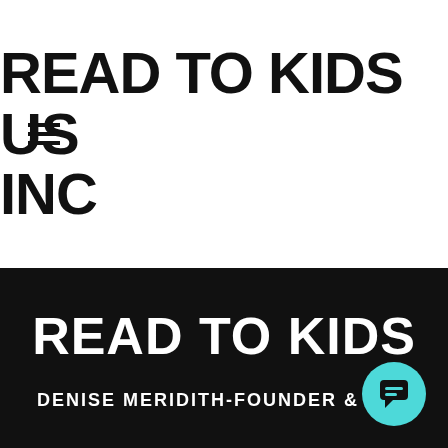READ TO KIDS US INC
READ TO KIDS
DENISE MERIDITH-FOUNDER & CEO
[Figure (illustration): Teal circular chat/message button icon in bottom right corner]